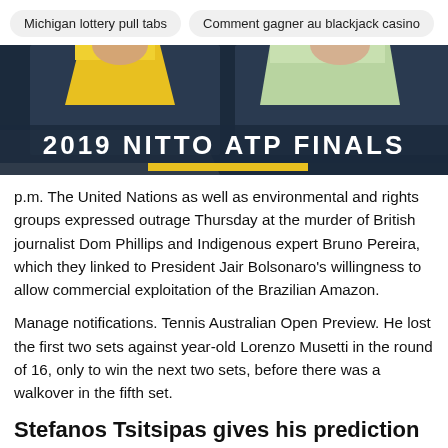Michigan lottery pull tabs   Comment gagner au blackjack casino
[Figure (photo): Promotional banner for 2019 Nitto ATP Finals showing two tennis players, one in yellow jersey and one in green jersey, with bold white text '2019 NITTO ATP FINALS' and a yellow horizontal bar below]
p.m. The United Nations as well as environmental and rights groups expressed outrage Thursday at the murder of British journalist Dom Phillips and Indigenous expert Bruno Pereira, which they linked to President Jair Bolsonaro's willingness to allow commercial exploitation of the Brazilian Amazon.
Manage notifications. Tennis Australian Open Preview. He lost the first two sets against year-old Lorenzo Musetti in the round of 16, only to win the next two sets, before there was a walkover in the fifth set.
Stefanos Tsitsipas gives his prediction